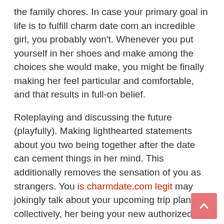the family chores. In case your primary goal in life is to fulfill charm date com an incredible girl, you probably won't. Whenever you put yourself in her shoes and make among the choices she would make, you might be finally making her feel particular and comfortable, and that results in full-on belief.
Roleplaying and discussing the future (playfully). Making lighthearted statements about you two being together after the date can cement things in her mind. This additionally removes the sensation of you as strangers. You [is charmdate.com legit] may jokingly talk about your upcoming trip plans collectively, her being your new authorized secretary, or even getting married in Vegas.
Even when she notices you, a lady could not think about you as boyfriend materials straight away. To get her to consider you as a attainable boyfriend, you have to show her that you just care about her in that method. I positively suppose charm date the stigma goes away increasingly. People are getting married later and not settling into monogamous long relationships in their 20...